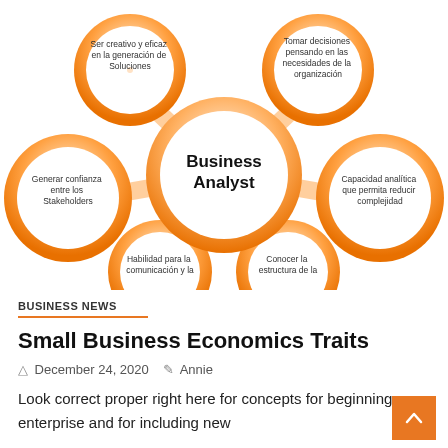[Figure (infographic): Mind-map style infographic showing a central orange circle labeled 'Business Analyst' connected to 5 surrounding orange circles with Spanish labels: 'Ser creativo y eficaz en la generación de Soluciones' (top-left), 'Tomar decisiones pensando en las necesidades de la organización' (top-right), 'Generar confianza entre los Stakeholders' (left), 'Capacidad analítica que permita reducir complejidad' (right), 'Habilidad para la comunicación y la...' (bottom-left), 'Conocer la estructura de la...' (bottom-right)]
BUSINESS NEWS
Small Business Economics Traits
December 24, 2020   Annie
Look correct proper right here for concepts for beginning a enterprise and for including new